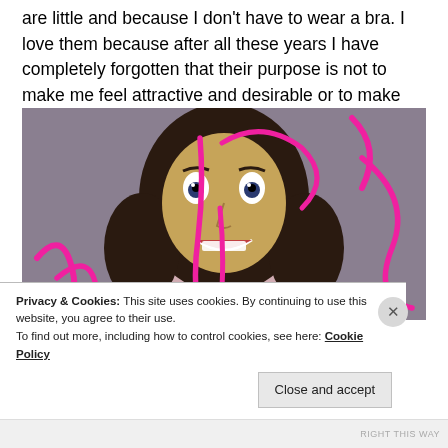are little and because I don't have to wear a bra. I love them because after all these years I have completely forgotten that their purpose is not to make me feel attractive and desirable or to make me fuckable.
[Figure (photo): A woman with long dark wavy hair, wide eyes, and a big smile, wearing a light pink top. Her face is covered with a yellow drawn-on mask, and the image is overlaid with pink drawn scribbles and lines.]
Privacy & Cookies: This site uses cookies. By continuing to use this website, you agree to their use.
To find out more, including how to control cookies, see here: Cookie Policy
Close and accept
RIGHT THIS WAY